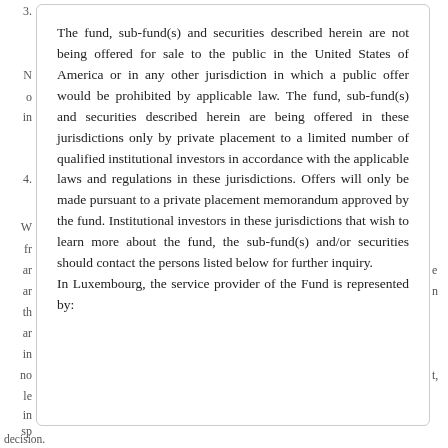The fund, sub-fund(s) and securities described herein are not being offered for sale to the public in the United States of America or in any other jurisdiction in which a public offer would be prohibited by applicable law. The fund, sub-fund(s) and securities described herein are being offered in these jurisdictions only by private placement to a limited number of qualified institutional investors in accordance with the applicable laws and regulations in these jurisdictions. Offers will only be made pursuant to a private placement memorandum approved by the fund. Institutional investors in these jurisdictions that wish to learn more about the fund, the sub-fund(s) and/or securities should contact the persons listed below for further inquiry.
In Luxembourg, the service provider of the Fund is represented by:
decision.